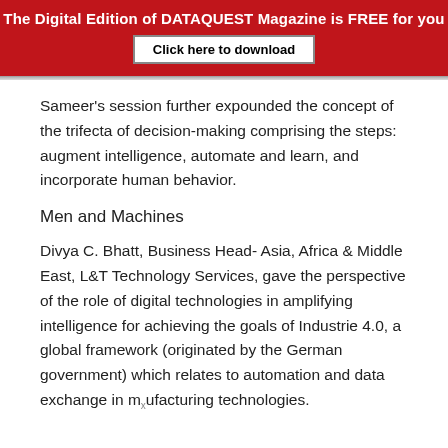The Digital Edition of DATAQUEST Magazine is FREE for you
Sameer's session further expounded the concept of the trifecta of decision-making comprising the steps: augment intelligence, automate and learn, and incorporate human behavior.
Men and Machines
Divya C. Bhatt, Business Head- Asia, Africa & Middle East, L&T Technology Services, gave the perspective of the role of digital technologies in amplifying intelligence for achieving the goals of Industrie 4.0, a global framework (originated by the German government) which relates to automation and data exchange in manufacturing technologies.